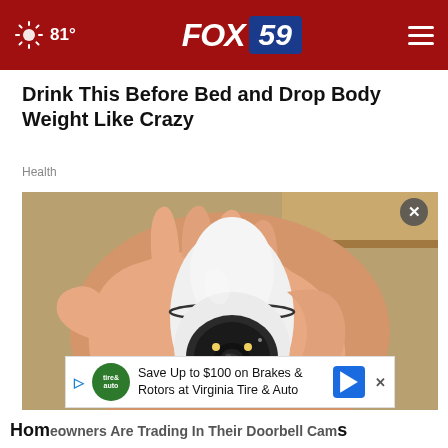81° FOX 59
Drink This Before Bed and Drop Body Weight Like Crazy
Health
[Figure (photo): A hand holding a white security camera shaped like a light bulb with a lens and LED lights visible]
Save Up to $100 on Brakes & Rotors at Virginia Tire & Auto
Homeowners Are Trading In Their Doorbell Cams